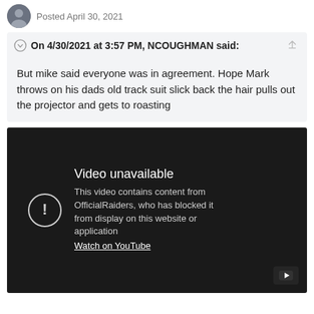Posted April 30, 2021
On 4/30/2021 at 3:57 PM, NCOUGHMAN said:
But mike said everyone was in agreement. Hope Mark throws on his dads old track suit slick back the hair pulls out the projector and gets to roasting
[Figure (screenshot): Embedded YouTube video player showing 'Video unavailable' message. Text reads: 'This video contains content from OfficialRaiders, who has blocked it from display on this website or application. Watch on YouTube']